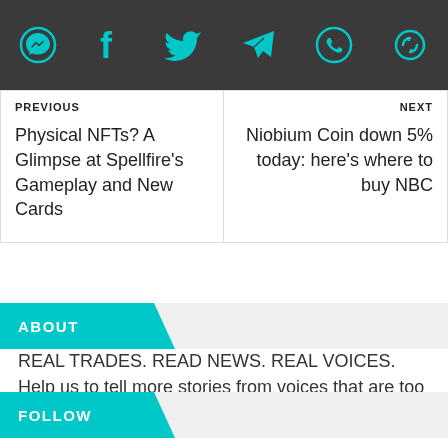[Figure (other): Social media sharing bar with icons for Messenger, Facebook, Twitter, Telegram, WhatsApp, and a refresh/share icon, all in teal on dark gray background]
PREVIOUS
Physical NFTs? A Glimpse at Spellfire's Gameplay and New Cards
NEXT
Niobium Coin down 5% today: here's where to buy NBC
ABOUT
REAL TRADES. READ NEWS. REAL VOICES. Help us to tell more stories from voices that are too often unheard of.
FOLLOW